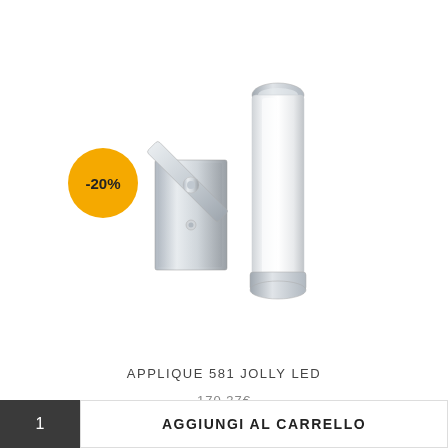[Figure (photo): Chrome wall lamp (applique) with a rectangular chrome base and a diagonal arm supporting a frosted glass cylindrical shade, angled upward. A yellow circular badge with -20% discount is overlaid on the top-left of the image.]
APPLIQUE 581 JOLLY LED
170.37€
1
AGGIUNGI AL CARRELLO